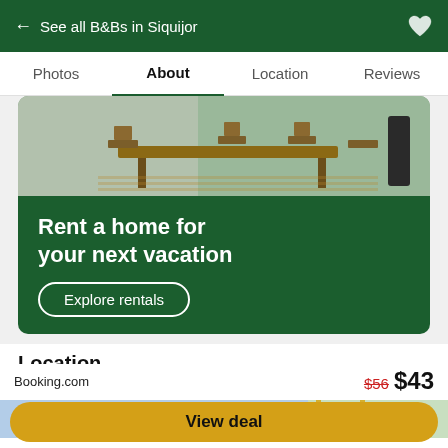← See all B&Bs in Siquijor
Photos  About  Location  Reviews
[Figure (photo): Outdoor dining area with wooden table and chairs on a deck, advertisement for vacation home rentals. Green panel reads: Rent a home for your next vacation. Button: Explore rentals.]
Location
[Figure (map): Map preview strip showing blue water/sky area on left, green land area on right, with yellow road lines.]
Booking.com  $56  $43
View deal